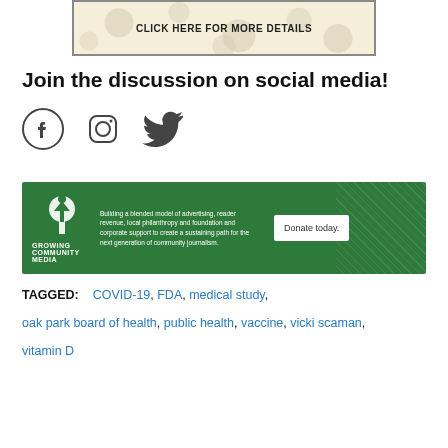[Figure (screenshot): Advertisement banner with bubbles background and text CLICK HERE FOR MORE DETAILS]
Join the discussion on social media!
[Figure (illustration): Social media icons: Facebook, Instagram, Twitter]
[Figure (illustration): Growing Community Media banner with logo, tagline, and Donate today button]
TAGGED: COVID-19, FDA, medical study, oak park board of health, public health, vaccine, vicki scaman, vitamin D